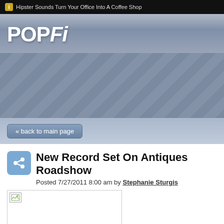Hipster Sounds Turn Your Office Into A Coffee Shop
[Figure (logo): POPFi website logo in white bold italic text on grey-blue gradient background]
[Figure (other): Navigation banner area with diagonal stripe pattern on blue-grey background]
« back to main page
[Figure (other): Share/social icon - blue rounded square with chain link symbol]
New Record Set On Antiques Roadshow
Posted 7/27/2011 8:00 am by Stephanie Sturgis
[Figure (photo): Article image placeholder with broken image icon]